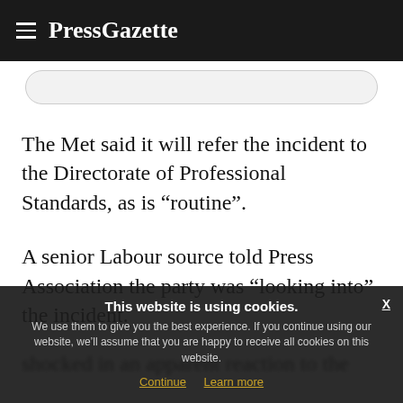PressGazette
The Met said it will refer the incident to the Directorate of Professional Standards, as is “routine”.
A senior Labour source told Press Association the party was “looking into” the incident.
shocked in an apparent reaction to the [obscured]
This website is using cookies. We use them to give you the best experience. If you continue using our website, we’ll assume that you are happy to receive all cookies on this website. Continue  Learn more